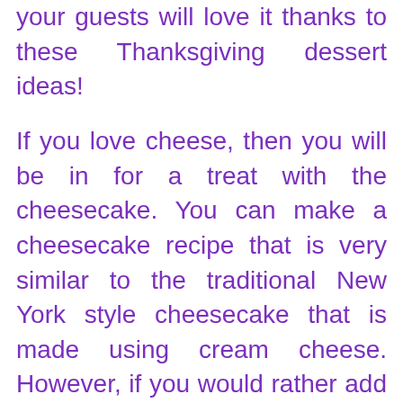your guests will love it thanks to these Thanksgiving dessert ideas!
If you love cheese, then you will be in for a treat with the cheesecake. You can make a cheesecake recipe that is very similar to the traditional New York style cheesecake that is made using cream cheese. However, if you would rather add another flavor to the cheesecake, you can do so by using strawberry topping instead of the traditional chocolate topping. You can find a variety of cheesecake recipes online that can